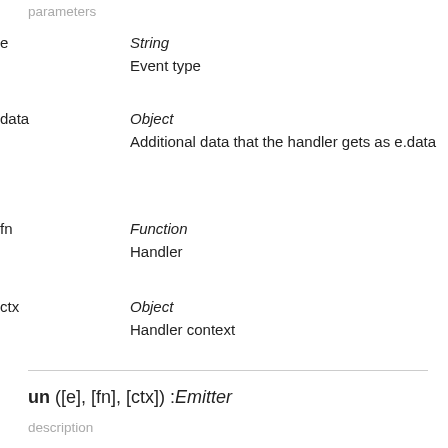parameters
e — String
Event type
data — Object
Additional data that the handler gets as e.data
fn — Function
Handler
ctx — Object
Handler context
un ([e], [fn], [ctx]) :Emitter
description
Removes event handler or handlers
parameters